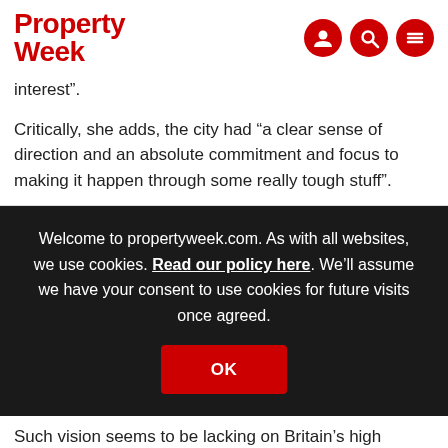Property Week
interest”.
Critically, she adds, the city had “a clear sense of direction and an absolute commitment and focus to making it happen through some really tough stuff”.
[Figure (screenshot): Cookie consent overlay on propertyweek.com website with OK button. Text reads: Welcome to propertyweek.com. As with all websites, we use cookies. Read our policy here. We’ll assume we have your consent to use cookies for future visits once agreed.]
Such vision seems to be lacking on Britain’s high streets.